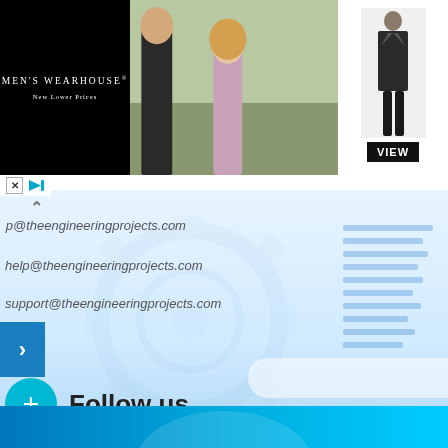[Figure (screenshot): Men's Wearhouse advertisement banner with brand logo on black background on left, couple in formal wear in center, man in suit on right with VIEW button]
help@theengineeringprojects.com
support@theengineeringprojects.com
Follow us
Follow us on social media